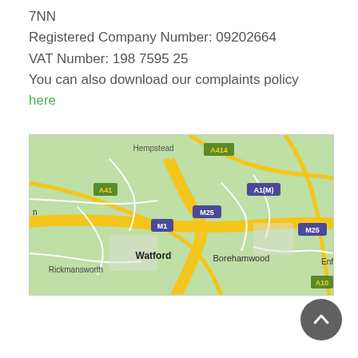7NN
Registered Company Number: 09202664
VAT Number: 198 7595 25
You can also download our complaints policy here
[Figure (map): Google Maps style road map showing Watford, Borehamwood, Enfield, Rickmansworth, Hempstead area with motorways M1, M25, A41, A414, A1(M), A10 marked]
[Figure (other): Scroll-to-top button: dark grey circle with white upward arrow]